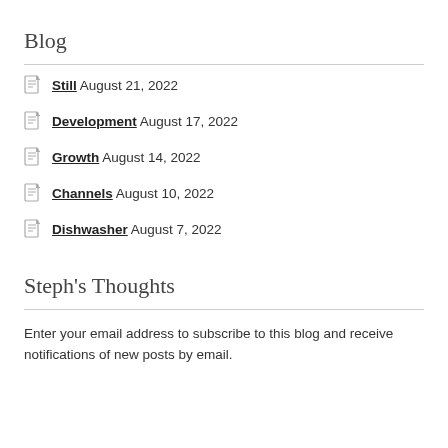Blog
Still August 21, 2022
Development August 17, 2022
Growth August 14, 2022
Channels August 10, 2022
Dishwasher August 7, 2022
Steph's Thoughts
Enter your email address to subscribe to this blog and receive notifications of new posts by email.